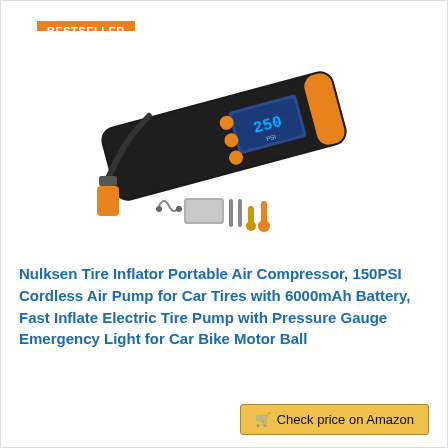BESTSELLER NO. 7
[Figure (photo): Nulksen portable tire inflator air compressor shown at an angle, black device with orange accents and blue LCD display, with accessories including USB cable, metal case, needle adapters, and orange nozzle attachment]
Nulksen Tire Inflator Portable Air Compressor, 150PSI Cordless Air Pump for Car Tires with 6000mAh Battery, Fast Inflate Electric Tire Pump with Pressure Gauge Emergency Light for Car Bike Motor Ball
Check price on Amazon